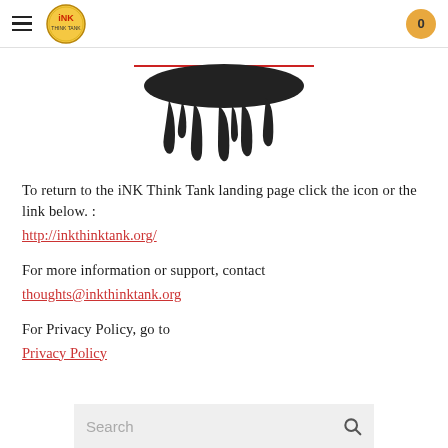iNK Think Tank navigation header with hamburger menu, logo, and cart badge (0)
[Figure (illustration): Ink drip splash illustration — black ink dripping down from a horizontal red line, forming finger-like drips]
To return to the iNK Think Tank landing page click the icon or the link below. :
http://inkthinktank.org/
For more information or support, contact
thoughts@inkthinktank.org
For Privacy Policy, go to
Privacy Policy